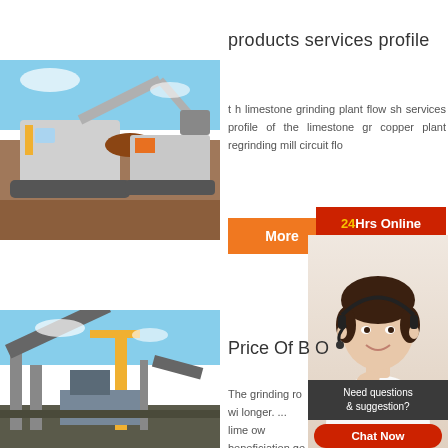[Figure (photo): Large yellow construction/mining excavator machinery loading material into a crusher/screener, blue sky background, dirt ground]
products services profile
t h limestone grinding plant flow sh services profile of the limestone gr copper plant regrinding mill circuit flo
More
24Hrs Online
[Figure (photo): Customer service woman wearing headset/microphone smiling, white background]
Need questions & suggestion?
Chat Now
Enquiry
limingjlmofen
[Figure (photo): Mining conveyor belt structure with machinery, yellow crane, blue sky background]
Price Of B O
The grinding ro wi longer. ... lime ow beneficiation ge pri